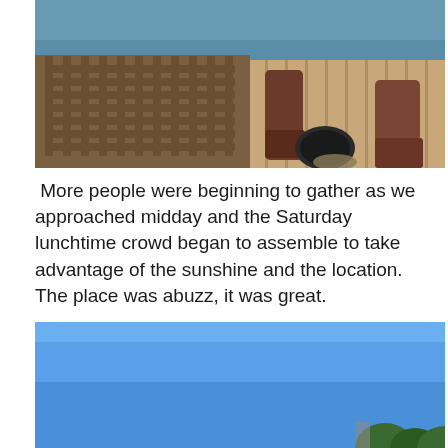[Figure (photo): Close-up photo of a statue or figure wearing rubber boots standing on a wooden dock/pier, with lobster traps and equipment visible, water in the background]
More people were beginning to gather as we approached midday and the Saturday lunchtime crowd began to assemble to take advantage of the sunshine and the location. The place was abuzz, it was great.
[Figure (photo): Photo of a bright blue sky with the tops of trees and possibly a structure visible at the bottom edge]